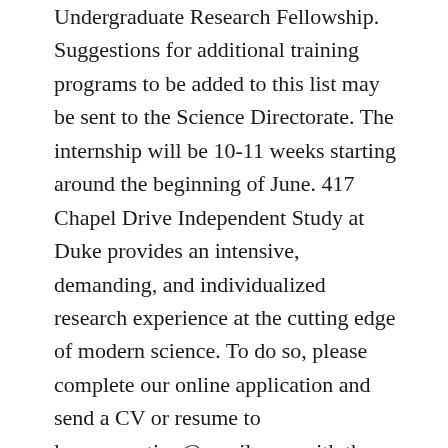Undergraduate Research Fellowship. Suggestions for additional training programs to be added to this list may be sent to the Science Directorate. The internship will be 10-11 weeks starting around the beginning of June. 417 Chapel Drive Independent Study at Duke provides an intensive, demanding, and individualized research experience at the cutting edge of modern science. To do so, please complete our online application and send a CV or resume to lmcooperation@gmail.com with the subject line “Summer 2017 Research Assistant Application”. For tips on how to find research employment after undergraduate and before graduate school, check out this resource from a recent SPSP meeting: https://osf.io/hx8uz. National Science Foundation Contributors. These are unpaid positions so students are encouraged to seek funding from outside sources and/or their home institutions. Latest News. Amgen is one of several funding